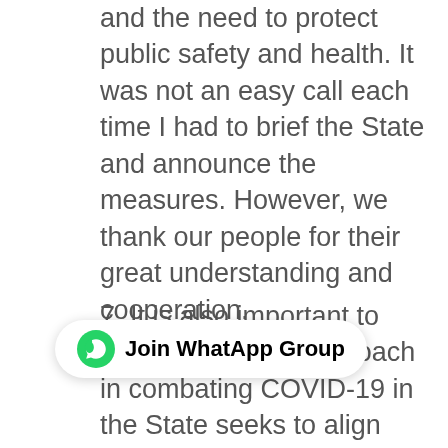and the need to protect public safety and health. It was not an easy call each time I had to brief the State and announce the measures. However, we thank our people for their great understanding and cooperation.
7. It is also important to mention that our approach in combating COVID-19 in the State seeks to align with the extant guidelines in place as issued by the Presidential Task Force, given that Ogun State is one of the States in the Presidential lockdown directive. Therefore, in consideration of the need to increasingly allow economic activities and after [consultation with stakeholders], and based on [recommendations of scientists and data analysis, the second phase of the eased lockdown will commence on June 1, as indicated last week.
[Figure (other): WhatsApp group join button overlay with green WhatsApp logo icon and text 'Join WhatApp Group']